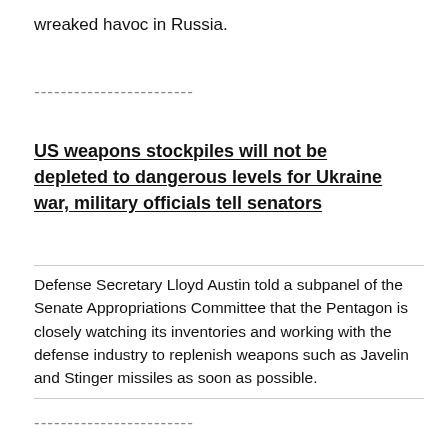wreaked havoc in Russia.
------------------------
US weapons stockpiles will not be depleted to dangerous levels for Ukraine war, military officials tell senators
Defense Secretary Lloyd Austin told a subpanel of the Senate Appropriations Committee that the Pentagon is closely watching its inventories and working with the defense industry to replenish weapons such as Javelin and Stinger missiles as soon as possible.
------------------------